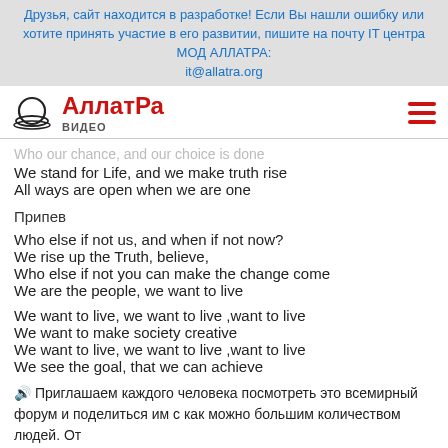Друзья, сайт находится в разработке! Если Вы нашли ошибку или хотите принять участие в его развитии, пишите на почту IT центра МОД АЛЛАТРА: it@allatra.org
[Figure (logo): АллатРа ВИДЕО logo with circular icon and hamburger menu]
Who our chance, and our choice is done
We stand for Life, and we make truth rise
All ways are open when we are one
Припев
Who else if not us, and when if not now?
We rise up the Truth, believe,
Who else if not you can make the change come
We are the people, we want to live
We want to live, we want to live ,want to live
We want to make society creative
We want to live, we want to live ,want to live
We see the goal, that we can achieve
🔊 Приглашаем каждого человека посмотреть это всемирный форум и поделиться им с как можно большим количеством людей. От